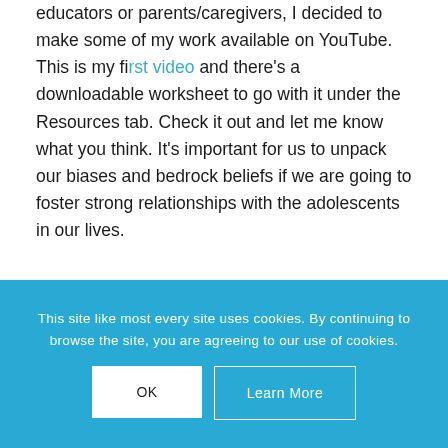educators or parents/caregivers, I decided to make some of my work available on YouTube. This is my first video and there's a downloadable worksheet to go with it under the Resources tab. Check it out and let me know what you think. It's important for us to unpack our biases and bedrock beliefs if we are going to foster strong relationships with the adolescents in our lives.
Tips for Parents and
This site like most every site uses cookies. By continuing to browse the site, you are agreeing to our use of cookies.